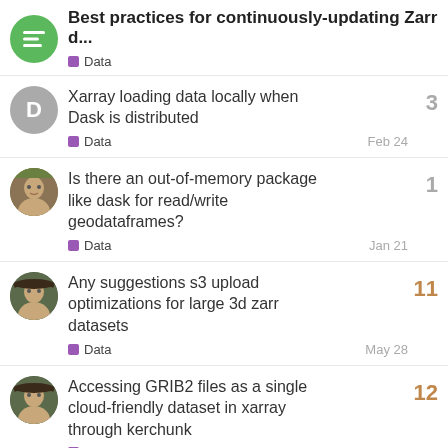Best practices for continuously-updating Zarr d... | Data
Xarray loading data locally when Dask is distributed | Data | Feb 24 | 3 replies
Is there an out-of-memory package like dask for read/write geodataframes? | Data | Jan 21 | 1 reply
Any suggestions s3 upload optimizations for large 3d zarr datasets | Data | May 28 | 11 replies
Accessing GRIB2 files as a single cloud-friendly dataset in xarray through kerchunk | Data | Apr 15 | 12 replies